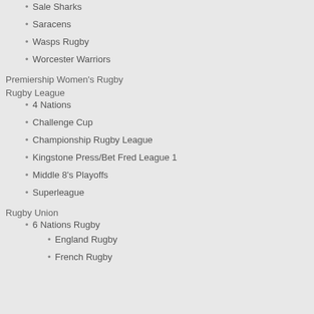Sale Sharks
Saracens
Wasps Rugby
Worcester Warriors
Premiership Women's Rugby
Rugby League
4 Nations
Challenge Cup
Championship Rugby League
Kingstone Press/Bet Fred League 1
Middle 8's Playoffs
Superleague
Rugby Union
6 Nations Rugby
England Rugby
French Rugby